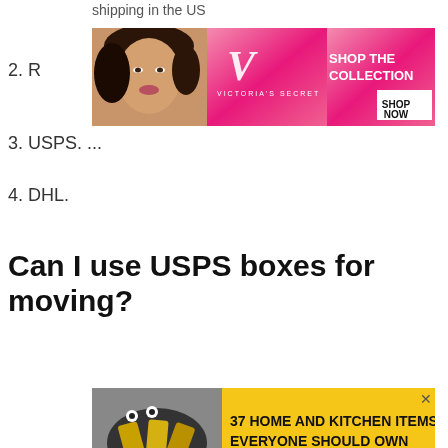shipping in the US
[Figure (photo): Victoria's Secret advertisement banner with model and 'SHOP THE COLLECTION / SHOP NOW' call to action]
2. R...
3. USPS. ...
4. DHL.
Can I use USPS boxes for moving?
[Figure (photo): Advertisement banner: '37 HOME AND KITCHEN ITEMS EVERYONE SHOULD OWN' with yellow background and food image]
To ship packages with USPS, the very first thing you'll need to do is pick the right boxes. … USE only strong, dry and clean boxes with no signs of any previous damage. All cardboard containers should be able to close flat w...ll and...g in d...
[Figure (photo): Bloomingdales advertisement: 'View Today's Top Deals!' with SHOP NOW button]